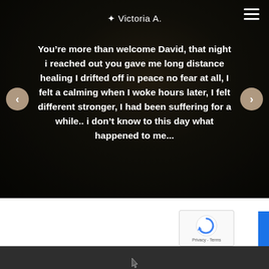Victoria A.
You’re more than welcome David, that night i reached out you gave me long distance healing I drifted off in peace no fear at all, I felt a calming when I woke hours later, I felt different stronger, I had been suffering for a while.. i don’t know to this day what happened to me...
[Figure (screenshot): reCAPTCHA widget with circular arrow logo and Privacy/Terms text, partially visible blue button to the right]